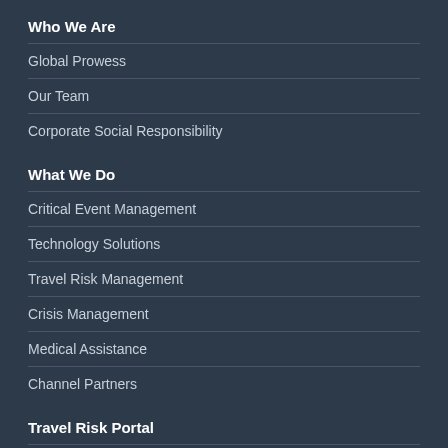Who We Are
Global Prowess
Our Team
Corporate Social Responsibility
What We Do
Critical Event Management
Technology Solutions
Travel Risk Management
Crisis Management
Medical Assistance
Channel Partners
Travel Risk Portal
CAP Advantage Login
Resources